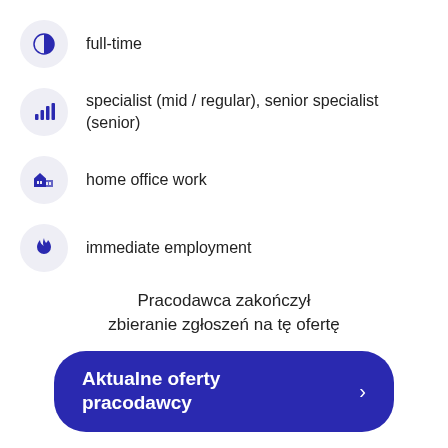full-time
specialist (mid / regular), senior specialist (senior)
home office work
immediate employment
more than one vacancy
Pracodawca zakończył zbieranie zgłoszeń na tę ofertę
Aktualne oferty pracodawcy